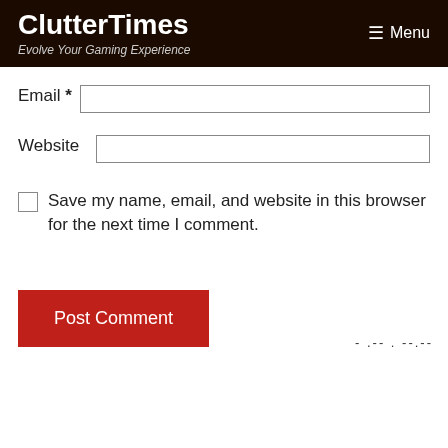ClutterTimes
Evolve Your Gaming Experience
Menu
Email *
Website
Save my name, email, and website in this browser for the next time I comment.
Post Comment
- .-- - --.-